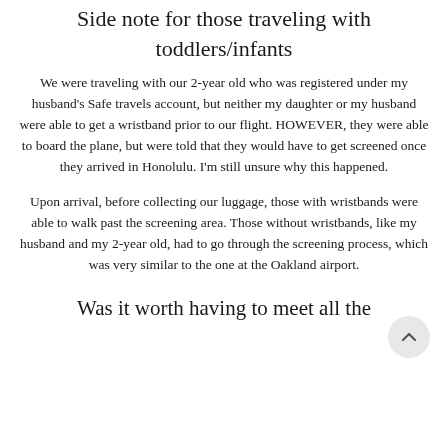Side note for those traveling with toddlers/infants
We were traveling with our 2-year old who was registered under my husband's Safe travels account, but neither my daughter or my husband were able to get a wristband prior to our flight. HOWEVER, they were able to board the plane, but were told that they would have to get screened once they arrived in Honolulu. I'm still unsure why this happened.
Upon arrival, before collecting our luggage, those with wristbands were able to walk past the screening area. Those without wristbands, like my husband and my 2-year old, had to go through the screening process, which was very similar to the one at the Oakland airport.
Was it worth having to meet all the